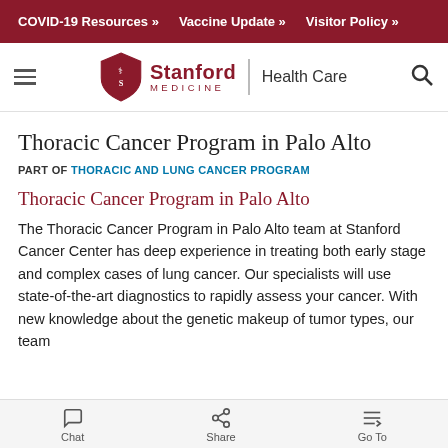COVID-19 Resources » | Vaccine Update » | Visitor Policy »
[Figure (logo): Stanford Medicine Health Care logo with shield emblem, hamburger menu, and search icon]
Thoracic Cancer Program in Palo Alto
PART OF THORACIC AND LUNG CANCER PROGRAM
Thoracic Cancer Program in Palo Alto
The Thoracic Cancer Program in Palo Alto team at Stanford Cancer Center has deep experience in treating both early stage and complex cases of lung cancer. Our specialists will use state-of-the-art diagnostics to rapidly assess your cancer. With new knowledge about the genetic makeup of tumor types, our team
Chat | Share | Go To